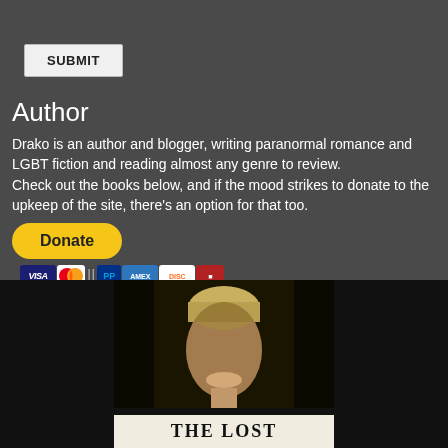SUBMIT
Author
Drako is an author and blogger, writing paranormal romance and LGBT fiction and reading almost any genre to review.
Check out the books below, and if the mood strikes to donate to the upkeep of the site, there's an option for that too.
[Figure (other): PayPal Donate button with payment card icons (Visa, Mastercard, PayPal, Amex, Discover, and one more)]
[Figure (photo): Book cover showing a young blond man's face in dramatic lighting with the title THE LOST below]